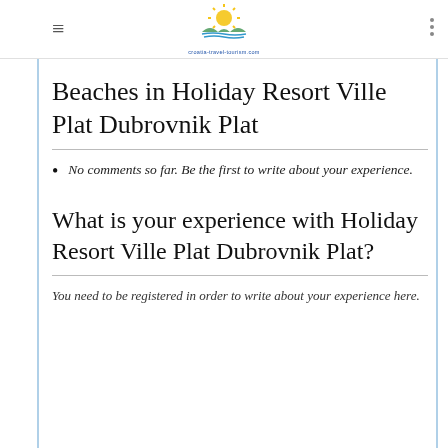[Figure (logo): Croatia travel tourism logo with sun and landscape]
Beaches in Holiday Resort Ville Plat Dubrovnik Plat
No comments so far. Be the first to write about your experience.
What is your experience with Holiday Resort Ville Plat Dubrovnik Plat?
You need to be registered in order to write about your experience here.